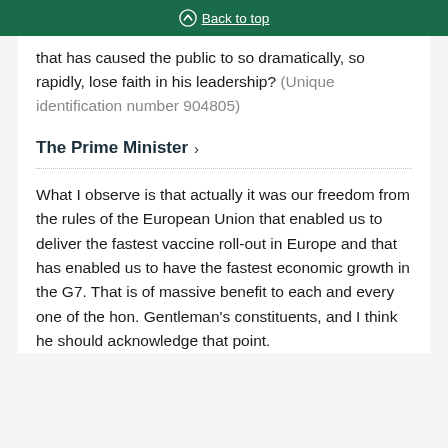Back to top
that has caused the public to so dramatically, so rapidly, lose faith in his leadership? (Unique identification number 904805)
The Prime Minister
What I observe is that actually it was our freedom from the rules of the European Union that enabled us to deliver the fastest vaccine roll-out in Europe and that has enabled us to have the fastest economic growth in the G7. That is of massive benefit to each and every one of the hon. Gentleman's constituents, and I think he should acknowledge that point.